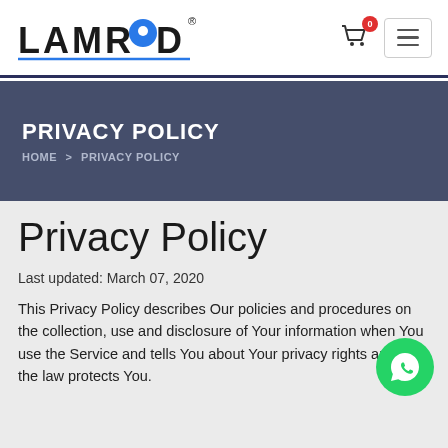[Figure (logo): LAMROD logo with blue location pin replacing the letter O, with registered trademark symbol]
[Figure (other): Shopping cart icon with red badge showing 0, and hamburger menu button]
PRIVACY POLICY
HOME > PRIVACY POLICY
Privacy Policy
Last updated: March 07, 2020
This Privacy Policy describes Our policies and procedures on the collection, use and disclosure of Your information when You use the Service and tells You about Your privacy rights and how the law protects You.
[Figure (other): WhatsApp floating action button (green circle with WhatsApp logo)]